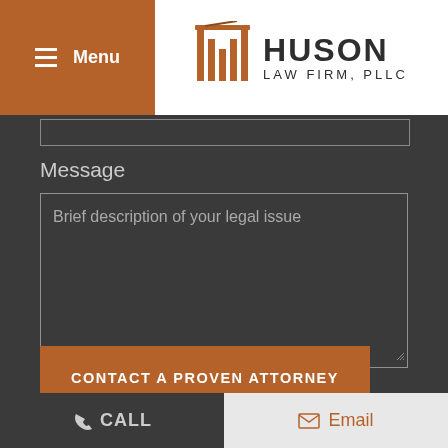[Figure (logo): Huson Law Firm PLLC logo with stylized building icon, hamburger menu on orange background]
Message
Brief description of your legal issue
Disclaimer | Privacy Policy
I Have Read The Disclaimer *
CONTACT A PROVEN ATTORNEY
CALL
Email